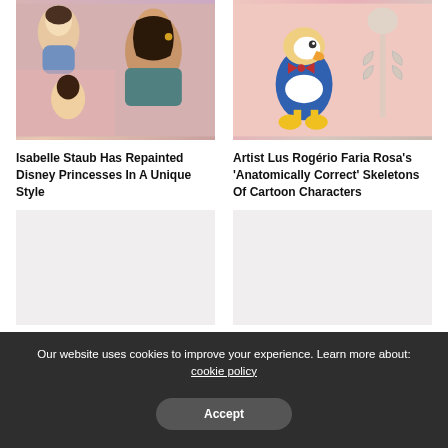[Figure (illustration): Collage of Disney Princesses repainted in a unique artistic style, showing characters like Belle and Esmeralda]
[Figure (illustration): Donald Duck and a skeleton cartoon character illustration by Lus Rogério Faria Rosa showing anatomically correct skeletons]
Isabelle Staub Has Repainted Disney Princesses In A Unique Style
Artist Lus Rogério Faria Rosa's 'Anatomically Correct' Skeletons Of Cartoon Characters
[Figure (photo): Blank/loading image placeholder - left]
[Figure (photo): Blank/loading image placeholder - right]
Our website uses cookies to improve your experience. Learn more about: cookie policy
Accept